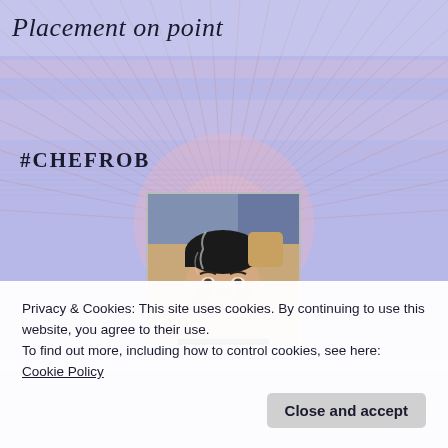Placement on point
#CHEFROB
[Figure (photo): Profile photo of a man sitting in a car, dark hair, looking at camera]
Privacy & Cookies: This site uses cookies. By continuing to use this website, you agree to their use.
To find out more, including how to control cookies, see here: Cookie Policy
Close and accept